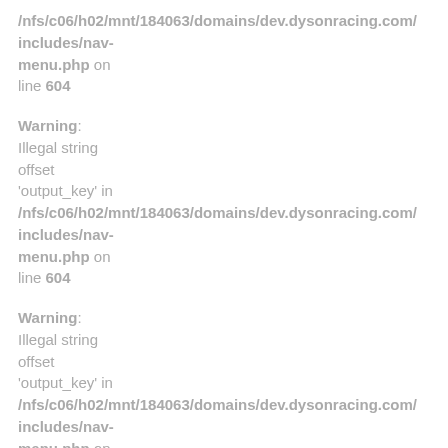/nfs/c06/h02/mnt/184063/domains/dev.dysonracing.com/includes/nav-menu.php on line 604
Warning: Illegal string offset 'output_key' in /nfs/c06/h02/mnt/184063/domains/dev.dysonracing.com/includes/nav-menu.php on line 604
Warning: Illegal string offset 'output_key' in /nfs/c06/h02/mnt/184063/domains/dev.dysonracing.com/includes/nav-menu.php on line 604